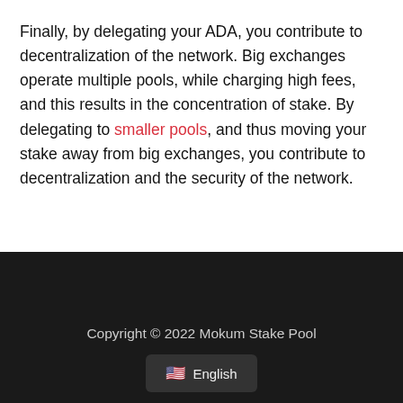Finally, by delegating your ADA, you contribute to decentralization of the network. Big exchanges operate multiple pools, while charging high fees, and this results in the concentration of stake. By delegating to smaller pools, and thus moving your stake away from big exchanges, you contribute to decentralization and the security of the network.
Copyright © 2022 Mokum Stake Pool